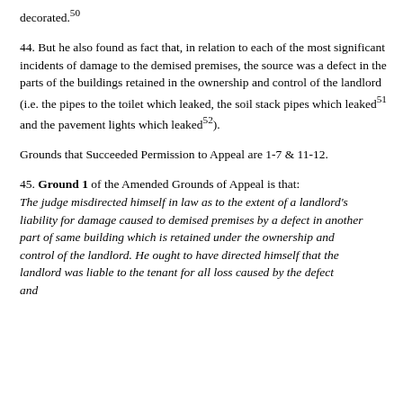decorated.50
44. But he also found as fact that, in relation to each of the most significant incidents of damage to the demised premises, the source was a defect in the parts of the buildings retained in the ownership and control of the landlord (i.e. the pipes to the toilet which leaked, the soil stack pipes which leaked51 and the pavement lights which leaked52).
Grounds that Succeeded Permission to Appeal are 1-7 & 11-12.
45. Ground 1 of the Amended Grounds of Appeal is that: The judge misdirected himself in law as to the extent of a landlord's liability for damage caused to demised premises by a defect in another part of same building which is retained under the ownership and control of the landlord. He ought to have directed himself that the landlord was liable to the tenant for all loss caused by the defect and